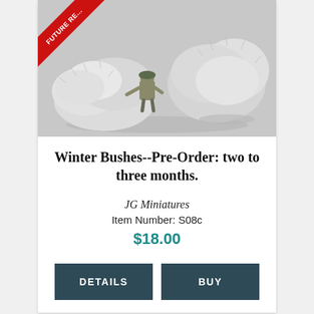[Figure (photo): A miniature soldier figure surrounded by winter bushes (fluffy white/silver foliage clusters) on a grey background. A red diagonal ribbon banner in the top-left corner reads 'FUTURE R...' (FUTURE RELEASE).]
Winter Bushes--Pre-Order: two to three months.
JG Miniatures
Item Number: S08c
$18.00
DETAILS
BUY